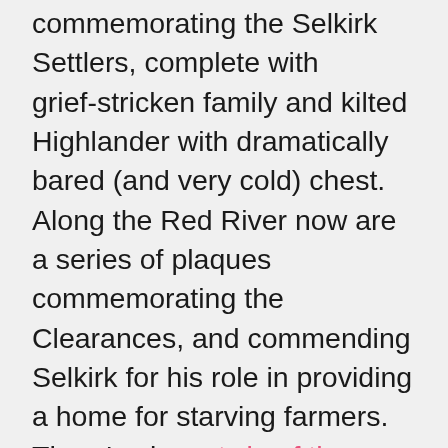commemorating the Selkirk Settlers, complete with grief-stricken family and kilted Highlander with dramatically bared (and very cold) chest. Along the Red River now are a series of plaques commemorating the Clearances, and commending Selkirk for his role in providing a home for starving farmers. There's also a twin of the monument at Helmsdale. Which is to say, this story has mythic significance for contemporary (and now majority Anglophone) Winnipeg. So, alongside the obvious but necessary comment that cleared Highlanders went on to enact genocidal settler-colonisation in Canada, I also want to question a little the philanthropy of Selkirk himself. I need to read more history to really understand the situation, but it seems to me that not only did Selkirk make money and reputation through these efforts, but also the possibility of emigration